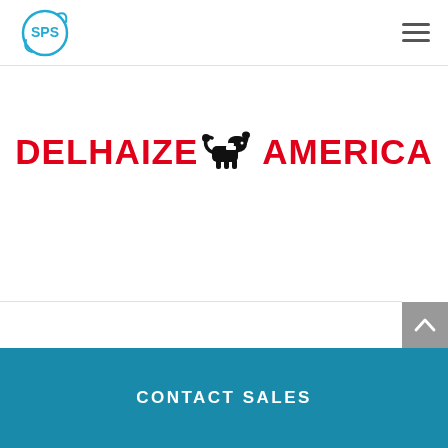SPS logo and navigation menu
[Figure (logo): Delhaize America logo: red bold text 'DELHAIZE' followed by a black lion icon and red bold text 'AMERICA']
CONTACT SALES